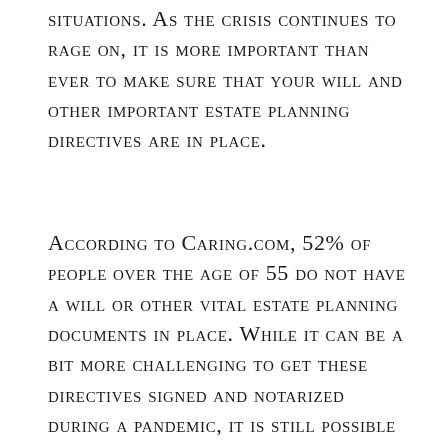situations. As the crisis continues to rage on, it is more important than ever to make sure that your will and other important estate planning directives are in place.
According to Caring.com, 52% of people over the age of 55 do not have a will or other vital estate planning documents in place. While it can be a bit more challenging to get these directives signed and notarized during a pandemic, it is still possible to get it done. Here five things that you need to include in your estate